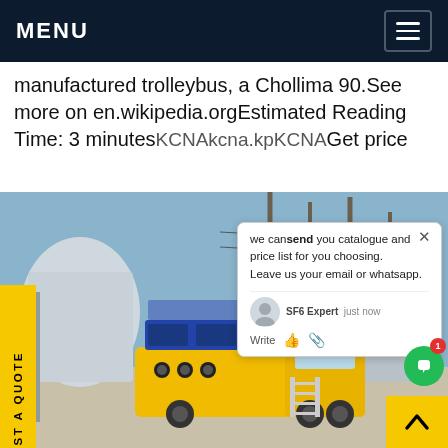MENU
manufactured trolleybus, a Chollima 90.See more on en.wikipedia.orgEstimated Reading Time: 3 minutesKCNAkcna.kpKCNAGet price
[Figure (photo): Yellow utility truck / service vehicle parked at an electrical substation with large industrial equipment and power line towers in the background. A chat overlay popup is visible over the image.]
REQUEST A QUOTE